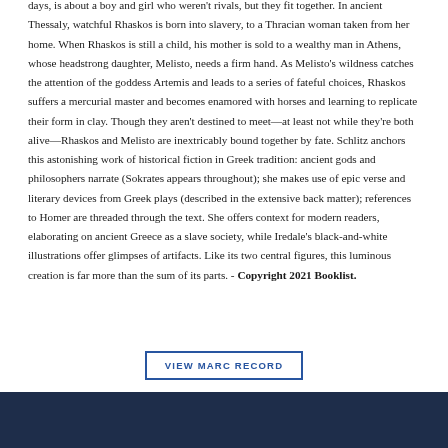days, is about a boy and girl who weren't rivals, but they fit together. In ancient Thessaly, watchful Rhaskos is born into slavery, to a Thracian woman taken from her home. When Rhaskos is still a child, his mother is sold to a wealthy man in Athens, whose headstrong daughter, Melisto, needs a firm hand. As Melisto's wildness catches the attention of the goddess Artemis and leads to a series of fateful choices, Rhaskos suffers a mercurial master and becomes enamored with horses and learning to replicate their form in clay. Though they aren't destined to meet—at least not while they're both alive—Rhaskos and Melisto are inextricably bound together by fate. Schlitz anchors this astonishing work of historical fiction in Greek tradition: ancient gods and philosophers narrate (Sokrates appears throughout); she makes use of epic verse and literary devices from Greek plays (described in the extensive back matter); references to Homer are threaded through the text. She offers context for modern readers, elaborating on ancient Greece as a slave society, while Iredale's black-and-white illustrations offer glimpses of artifacts. Like its two central figures, this luminous creation is far more than the sum of its parts. - Copyright 2021 Booklist.
VIEW MARC RECORD